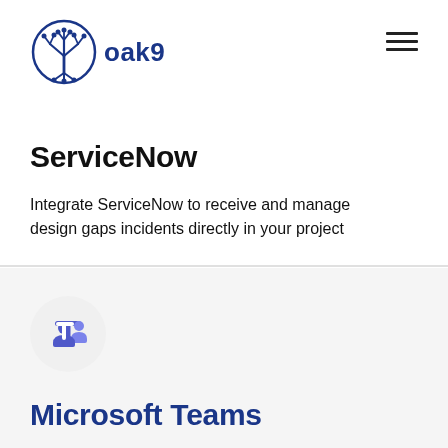[Figure (logo): oak9 logo: circuit-tree icon in dark blue with text 'oak9' beside it]
[Figure (other): Hamburger menu icon (three horizontal lines) in top-right corner]
ServiceNow
Integrate ServiceNow to receive and manage design gaps incidents directly in your project
[Figure (logo): Microsoft Teams logo icon: blue 'T' with two person silhouettes on a light gray circular background]
Microsoft Teams